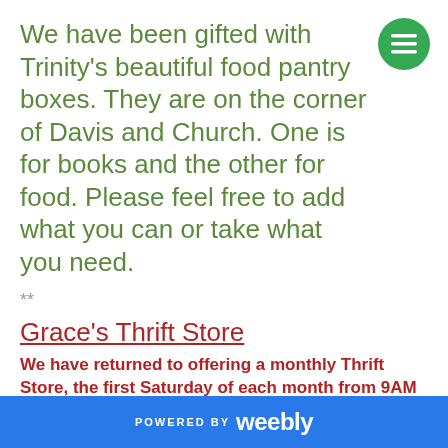We have been gifted with Trinity's beautiful food pantry boxes. They are on the corner of Davis and Church. One is for books and the other for food. Please feel free to add what you can or take what you need.
**
Grace's Thrift Store
We have returned to offering a monthly Thrift Store, the first Saturday of each month from 9AM to 1PM.*
We are accepting donations for our Thrift Store. Clean, washed, and non-stained children's clothing,
POWERED BY weebly